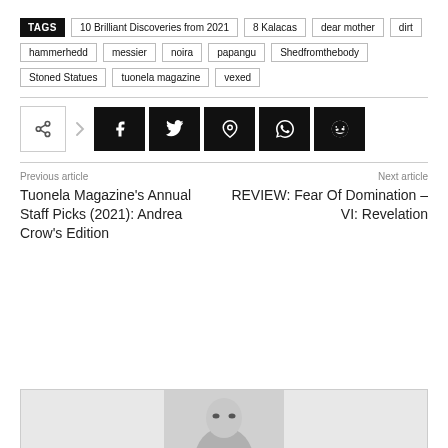TAGS  10 Brilliant Discoveries from 2021  8 Kalacas  dear mother  dirt  hammerhedd  messier  noira  papangu  Shedfromthebody  Stoned Statues  tuonela magazine  vexed
[Figure (other): Social share buttons: share icon, Facebook, Twitter, Pinterest, WhatsApp, Reddit]
Previous article
Tuonela Magazine's Annual Staff Picks (2021): Andrea Crow's Edition
Next article
REVIEW: Fear Of Domination – VI: Revelation
[Figure (photo): Partial photo at bottom showing a person's face, black and white]